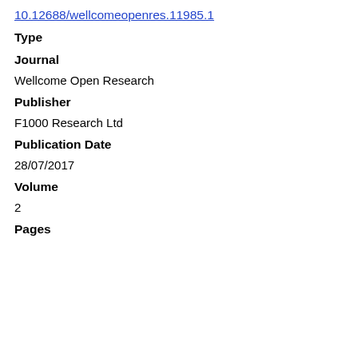10.12688/wellcomeopenres.11985.1
Type
Journal
Wellcome Open Research
Publisher
F1000 Research Ltd
Publication Date
28/07/2017
Volume
2
Pages